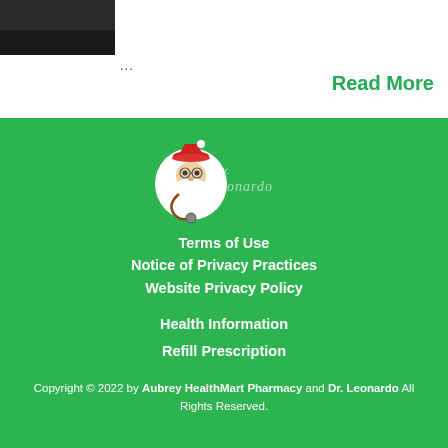[Figure (photo): Dark/black partial photo at top left corner]
...
Read More
[Figure (logo): Dr. Leonardo logo — cartoon gnome/elf doctor character with stethoscope and red hat, with cursive 'Dr. Leonardo' text]
Terms of Use
Notice of Privacy Practices
Website Privacy Policy
Health Information
Refill Prescription
Copyright © 2022 by Aubrey HealthMart Pharmacy and Dr. Leonardo All Rights Reserved.